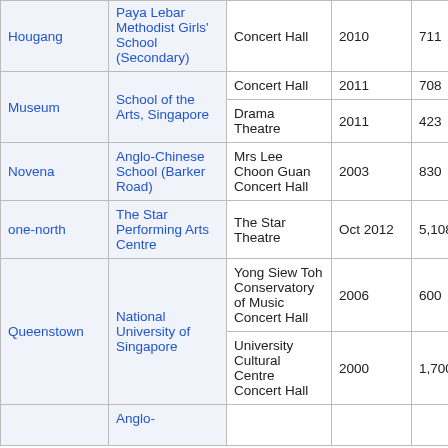| Location | Venue | Hall | Year | Capacity | Notes |
| --- | --- | --- | --- | --- | --- |
| Hougang | Paya Lebar Methodist Girls' School (Secondary) | Concert Hall | 2010 | 711 |  |
| Museum | School of the Arts, Singapore | Concert Hall | 2011 | 708 |  |
| Museum | School of the Arts, Singapore | Drama Theatre | 2011 | 423 |  |
| Novena | Anglo-Chinese School (Barker Road) | Mrs Lee Choon Guan Concert Hall | 2003 | 830 |  |
| one-north | The Star Performing Arts Centre | The Star Theatre | Oct 2012 | 5,108 |  |
| Queenstown | National University of Singapore | Yong Siew Toh Conservatory of Music Concert Hall | 2006 | 600 | T C... |
| Queenstown | National University of Singapore | University Cultural Centre Concert Hall | 2000 | 1,700 | N S C... |
| Queenstown | Anglo- |  |  |  |  |